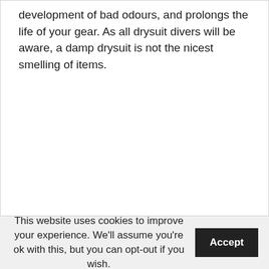development of bad odours, and prolongs the life of your gear. As all drysuit divers will be aware, a damp drysuit is not the nicest smelling of items.
This website uses cookies to improve your experience. We'll assume you're ok with this, but you can opt-out if you wish.